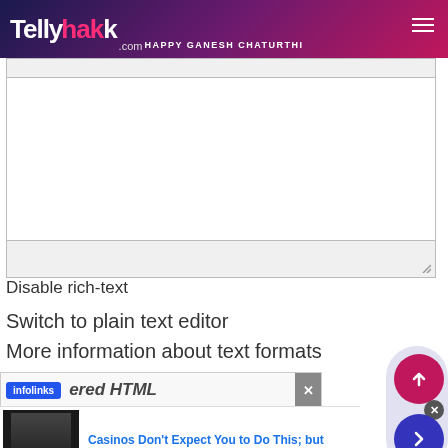TellyChakkar.com HAPPY GANESH CHATURTHI
[Figure (screenshot): Rich text editor textarea with top toolbar bar and bottom resize handle, partially visible]
Disable rich-text
Switch to plain text editor
More information about text formats
[Figure (screenshot): Infolinks bar at bottom with partial HTML label and X close button]
[Figure (screenshot): Ad overlay: Casinos Don't Expect You to Do This; but — n/a, with thumbnail of person in jacket]